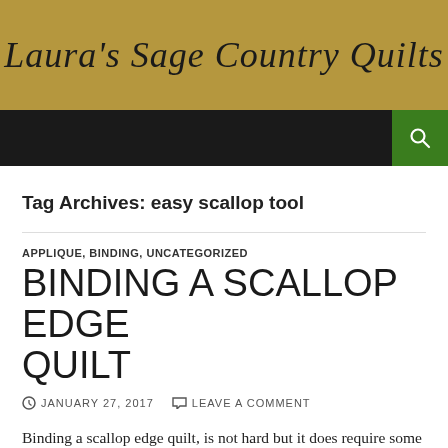Laura's Sage Country Quilts
Tag Archives: easy scallop tool
APPLIQUE, BINDING, UNCATEGORIZED
BINDING A SCALLOP EDGE QUILT
JANUARY 27, 2017   LEAVE A COMMENT
Binding a scallop edge quilt, is not hard but it does require some preciseness in sewing and making up your mind to take